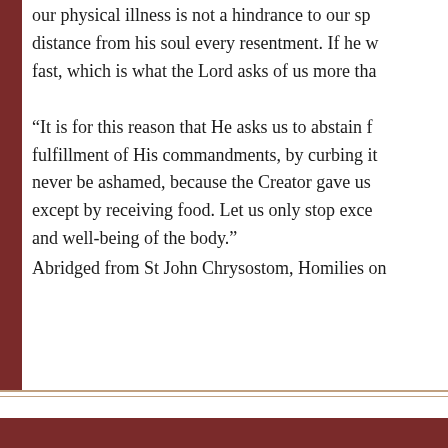our physical illness is not a hindrance to our sp distance from his soul every resentment. If he w fast, which is what the Lord asks of us more tha
“It is for this reason that He asks us to abstain f fulfillment of His commandments, by curbing it never be ashamed, because the Creator gave us except by receiving food. Let us only stop exce and well-being of the body.”
Abridged from St John Chrysostom, Homilies on